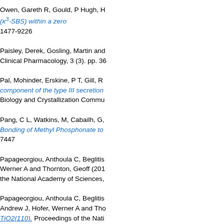Owen, Gareth R, Gould, P Hugh, H... (κ<sup>3</sup>-SBS) within a zero... 1477-9226
Paisley, Derek, Gosling, Martin and... Clinical Pharmacology, 3 (3). pp. 36...
Pal, Mohinder, Erskine, P T, Gill, R... component of the type III secretion... Biology and Crystallization Commu...
Pang, C L, Watkins, M, Cabailh, G,... Bonding of Methyl Phosphonate to... 7447
Papageorgiou, Anthoula C, Beglitis... Werner A and Thornton, Geoff (201... the National Academy of Sciences,...
Papageorgiou, Anthoula C, Beglitis... Andrew J, Hofer, Werner A and Tho... TiO2(110). Proceedings of the Nati... 107 (6). pp. 2391-2396. ISSN 1091...
Parmar, Rakesh, Coles, Martyn P, H... synthesis of enantiomerically pure...